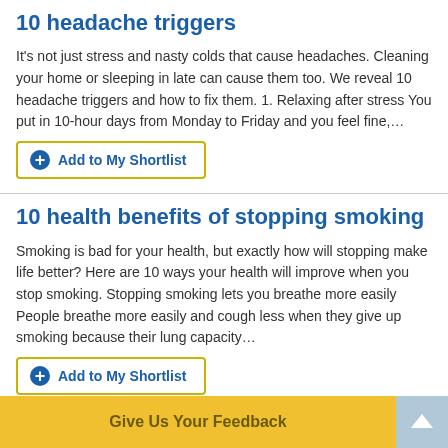10 headache triggers
It's not just stress and nasty colds that cause headaches. Cleaning your home or sleeping in late can cause them too. We reveal 10 headache triggers and how to fix them. 1. Relaxing after stress You put in 10-hour days from Monday to Friday and you feel fine,…
Add to My Shortlist
10 health benefits of stopping smoking
Smoking is bad for your health, but exactly how will stopping make life better? Here are 10 ways your health will improve when you stop smoking. Stopping smoking lets you breathe more easily People breathe more easily and cough less when they give up smoking because their lung capacity…
Add to My Shortlist
10 hearing helpers
Give Us Your Feedback